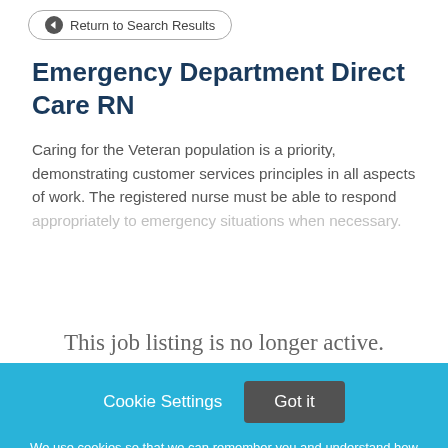Return to Search Results
Emergency Department Direct Care RN
Caring for the Veteran population is a priority, demonstrating customer services principles in all aspects of work. The registered nurse must be able to respond appropriately to emergency situations when necessary.
This job listing is no longer active.
Cookie Settings  Got it
We use cookies so that we can remember you and understand how you use our site. If you do not agree with our use of cookies, please change the current settings found in our Cookie Policy. Otherwise, you agree to the use of the cookies as they are currently set.